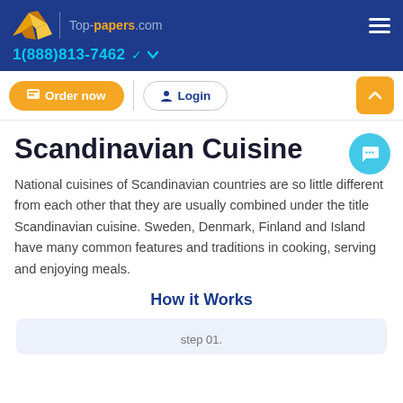Top-papers.com | 1(888)813-7462
[Figure (logo): Top-papers.com logo with origami paper plane in yellow/gold]
Order now | Login
Scandinavian Cuisine
National cuisines of Scandinavian countries are so little different from each other that they are usually combined under the title Scandinavian cuisine. Sweden, Denmark, Finland and Island have many common features and traditions in cooking, serving and enjoying meals.
How it Works
step 01.